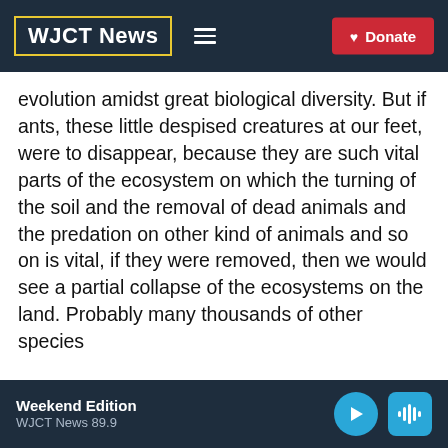WJCT News
evolution amidst great biological diversity. But if ants, these little despised creatures at our feet, were to disappear, because they are such vital parts of the ecosystem on which the turning of the soil and the removal of dead animals and the predation on other kind of animals and so on is vital, if they were removed, then we would see a partial collapse of the ecosystems on the land. Probably many thousands of other species
Weekend Edition WJCT News 89.9